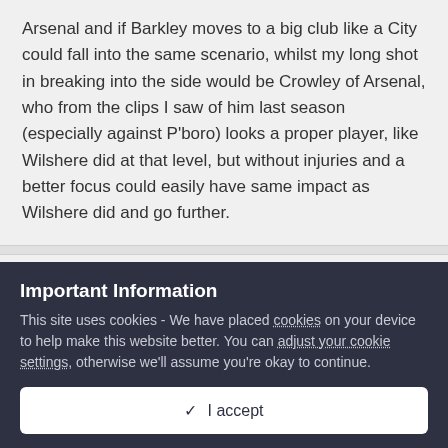Arsenal and if Barkley moves to a big club like a City could fall into the same scenario, whilst my long shot in breaking into the side would be Crowley of Arsenal, who from the clips I saw of him last season (especially against P'boro) looks a proper player, like Wilshere did at that level, but without injuries and a better focus could easily have same impact as Wilshere did and go further.
noikeee
Posted July 16, 2014
Rui Patrício
Important Information
This site uses cookies - We have placed cookies on your device to help make this website better. You can adjust your cookie settings, otherwise we'll assume you're okay to continue.
✓  I accept